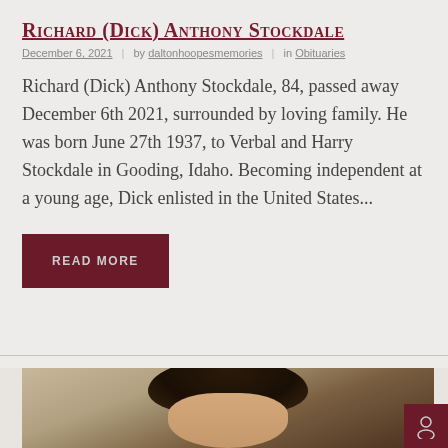Richard (Dick) Anthony Stockdale
December 6, 2021  |  by daltonhoopesmemories  |  in Obituaries
Richard (Dick) Anthony Stockdale, 84, passed away December 6th 2021, surrounded by loving family. He was born June 27th 1937, to Verbal and Harry Stockdale in Gooding, Idaho. Becoming independent at a young age, Dick enlisted in the United States...
READ MORE
[Figure (photo): Partial view of a person's head with dark hair, appears to be a historical black and white or sepia photo]